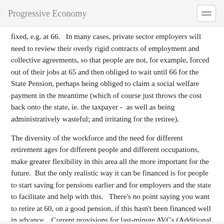Progressive Economy
fixed, e.g. at 66.   In many cases, private sector employers will need to review their overly rigid contracts of employment and collective agreements, so that people are not, for example, forced out of their jobs at 65 and then obliged to wait until 66 for the State Pension, perhaps being obliged to claim a social welfare payment in the meantime (which of course just throws the cost back onto the state, ie. the taxpayer -  as well as being administratively wasteful; and irritating for the retiree).
The diversity of the workforce and the need for different retirement ages for different people and different occupations, make greater flexibility in this area all the more important for the future.  But the only realistic way it can be financed is for people to start saving for pensions earlier and for employers and the state to facilitate and help with this.    There's no point saying you want to retire at 60, on a good pension, if this hasn't been financed well in advance.   Current provisions for last-minute AVCs (Additional Voluntary Contributions), made from lump sums like redundancy or other payments when employment ceases and designed to boost pension entitlements, are not a solution for everyone.